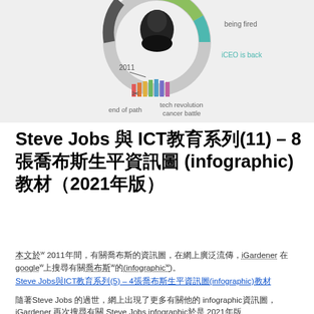[Figure (infographic): Steve Jobs life timeline infographic showing a circular portrait with labels: 2011, being fired, iCEO is back, end of path, tech revolution, cancer battle]
Steve Jobs 與 ICT教育系列(11) – 8張喬布斯生平資訊圖 (infographic)教材（2021年版）
本文於 2011年間，有關喬布斯的資訊圖，在網上廣泛流傳，iGardener 在 google 上搜尋有關喬布斯的資訊圖(infographic)。
Steve Jobs與ICT教育系列(5) – 4張喬布斯生平資訊圖(infographic)教材
隨著Steve Jobs 的過世，網上出現了更多有關他的 infographic資訊圖，iGardener 再次搜尋有關 Steve Jobs infographic於是 2021年版